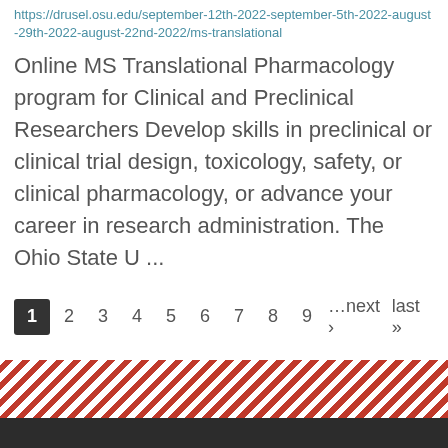https://drusel.osu.edu/september-12th-2022-september-5th-2022-august-29th-2022-august-22nd-2022/ms-translational
Online MS Translational Pharmacology program for Clinical and Preclinical Researchers Develop skills in preclinical or clinical trial design, toxicology, safety, or clinical pharmacology, or advance your career in research administration. The Ohio State U ...
1 2 3 4 5 6 7 8 9 …next › last »